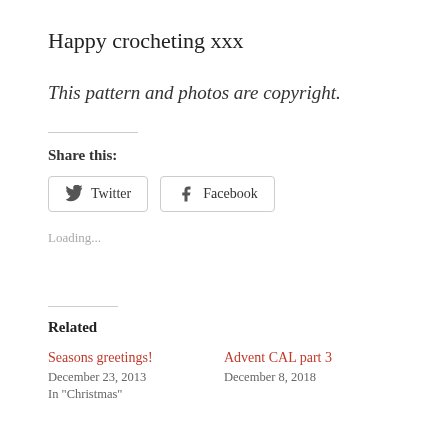Happy crocheting xxx
This pattern and photos are copyright.
Share this:
Loading...
Related
Seasons greetings!
December 23, 2013
In "Christmas"
Advent CAL part 3
December 8, 2018